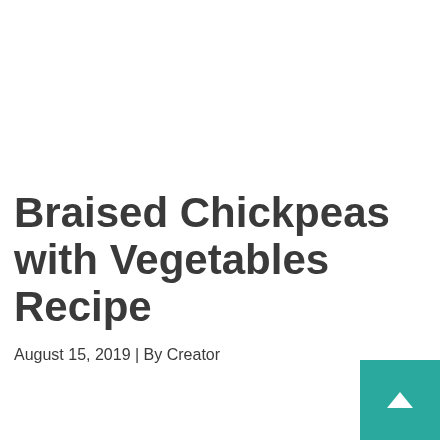Braised Chickpeas with Vegetables Recipe
August 15, 2019 | By Creator